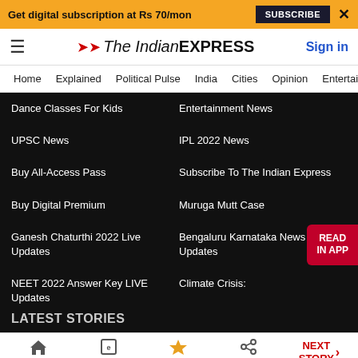Get digital subscription at Rs 70/mon | SUBSCRIBE | X
The Indian EXPRESS | Sign in
Home | Explained | Political Pulse | India | Cities | Opinion | Entertainment
Dance Classes For Kids
Entertainment News
UPSC News
IPL 2022 News
Buy All-Access Pass
Subscribe To The Indian Express
Buy Digital Premium
Muruga Mutt Case
Ganesh Chaturthi 2022 Live Updates
Bengaluru Karnataka News Live Updates
NEET 2022 Answer Key LIVE Updates
Climate Crisis:
LATEST STORIES
Home | ePaper | Premium | Share | NEXT STORY